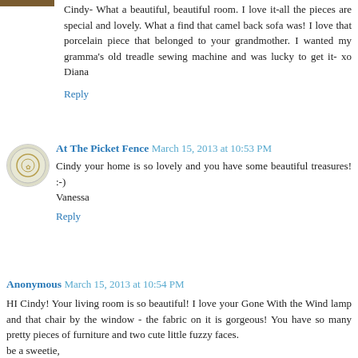Cindy- What a beautiful, beautiful room. I love it-all the pieces are special and lovely. What a find that camel back sofa was! I love that porcelain piece that belonged to your grandmother. I wanted my gramma's old treadle sewing machine and was lucky to get it- xo Diana
Reply
At The Picket Fence  March 15, 2013 at 10:53 PM
Cindy your home is so lovely and you have some beautiful treasures! :-)
Vanessa
Reply
Anonymous  March 15, 2013 at 10:54 PM
HI Cindy! Your living room is so beautiful! I love your Gone With the Wind lamp and that chair by the window - the fabric on it is gorgeous! You have so many pretty pieces of furniture and two cute little fuzzy faces.
be a sweetie,